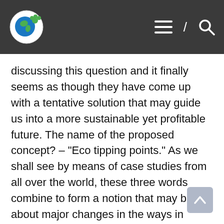[Navigation bar with logo, hamburger menu, slash, and search icon]
discussing this question and it finally seems as though they have come up with a tentative solution that may guide us into a more sustainable yet profitable future. The name of the proposed concept? – "Eco tipping points." As we shall see by means of case studies from all over the world, these three words combine to form a notion that may bring about major changes in the ways in which we currently lead our lives, possibly guiding us to a more community-oriented approach to sustainability and thus improving not only our own lives but also the living conditions